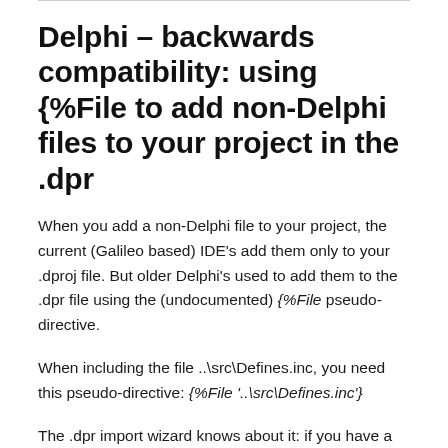Delphi – backwards compatibility: using {%File to add non-Delphi files to your project in the .dpr
When you add a non-Delphi file to your project, the current (Galileo based) IDE's add them only to your .dproj file. But older Delphi's used to add them to the .dpr file using the (undocumented) {%File pseudo-directive.
When including the file ..\src\Defines.inc, you need this pseudo-directive: {%File '..\src\Defines.inc'}
The .dpr import wizard knows about it: if you have a lonely .dpr file using the {%File pseudo-directive, it will be